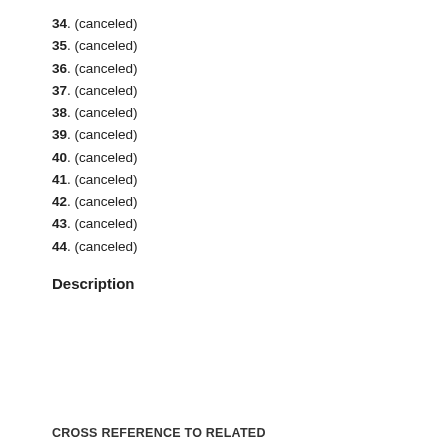34. (canceled)
35. (canceled)
36. (canceled)
37. (canceled)
38. (canceled)
39. (canceled)
40. (canceled)
41. (canceled)
42. (canceled)
43. (canceled)
44. (canceled)
Description
CROSS REFERENCE TO RELATED